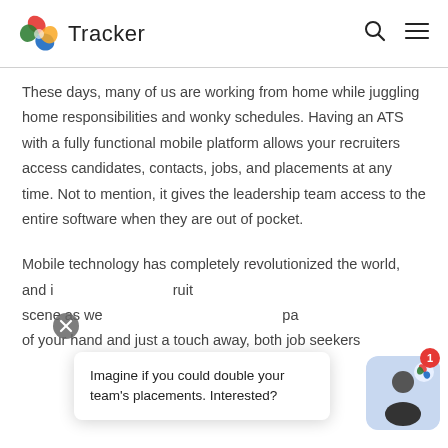Tracker
These days, many of us are working from home while juggling home responsibilities and wonky schedules. Having an ATS with a fully functional mobile platform allows your recruiters access candidates, contacts, jobs, and placements at any time. Not to mention, it gives the leadership team access to the entire software when they are out of pocket.
Mobile technology has completely revolutionized the world, and it has completely changed the recruiting scene as well. With your smartphone as pa of your hand and just a touch away, both job seekers
[Figure (screenshot): Chat popup overlay with close button (X) and avatar, showing text: Imagine if you could double your team's placements. Interested? With a red notification badge showing 1.]